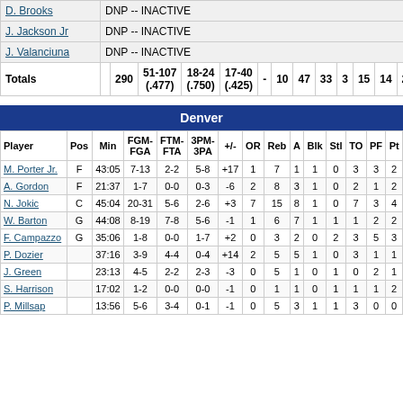| Player | Pos | Min | FGM-FGA | FTM-FTA | 3PM-3PA | +/- | OR | Reb | A | Blk | Stl | TO | PF | Pt |
| --- | --- | --- | --- | --- | --- | --- | --- | --- | --- | --- | --- | --- | --- | --- |
| D. Brooks | DNP -- INACTIVE |  |  |  |  |  |  |  |  |  |  |  |  |  |
| J. Jackson Jr | DNP -- INACTIVE |  |  |  |  |  |  |  |  |  |  |  |  |  |
| J. Valanciuna | DNP -- INACTIVE |  |  |  |  |  |  |  |  |  |  |  |  |  |
| Totals |  | 290 | 51-107 (.477) | 18-24 (.750) | 17-40 (.425) | - | 10 | 47 | 33 | 3 | 15 | 14 | 24 | 1 |
| Player | Pos | Min | FGM-FGA | FTM-FTA | 3PM-3PA | +/- | OR | Reb | A | Blk | Stl | TO | PF | Pt |
| --- | --- | --- | --- | --- | --- | --- | --- | --- | --- | --- | --- | --- | --- | --- |
| M. Porter Jr. | F | 43:05 | 7-13 | 2-2 | 5-8 | +17 | 1 | 7 | 1 | 1 | 0 | 3 | 3 | 2 |
| A. Gordon | F | 21:37 | 1-7 | 0-0 | 0-3 | -6 | 2 | 8 | 3 | 1 | 0 | 2 | 1 | 2 |
| N. Jokic | C | 45:04 | 20-31 | 5-6 | 2-6 | +3 | 7 | 15 | 8 | 1 | 0 | 7 | 3 | 4 |
| W. Barton | G | 44:08 | 8-19 | 7-8 | 5-6 | -1 | 1 | 6 | 7 | 1 | 1 | 1 | 2 | 2 |
| F. Campazzo | G | 35:06 | 1-8 | 0-0 | 1-7 | +2 | 0 | 3 | 2 | 0 | 2 | 3 | 5 | 3 |
| P. Dozier |  | 37:16 | 3-9 | 4-4 | 0-4 | +14 | 2 | 5 | 5 | 1 | 0 | 3 | 1 | 1 |
| J. Green |  | 23:13 | 4-5 | 2-2 | 2-3 | -3 | 0 | 5 | 1 | 0 | 1 | 0 | 2 | 1 |
| S. Harrison |  | 17:02 | 1-2 | 0-0 | 0-0 | -1 | 0 | 1 | 1 | 0 | 1 | 1 | 1 | 2 |
| P. Millsap |  | 13:56 | 5-6 | 3-4 | 0-1 | -1 | 0 | 5 | 3 | 1 | 1 | 3 | 0 | 0 |